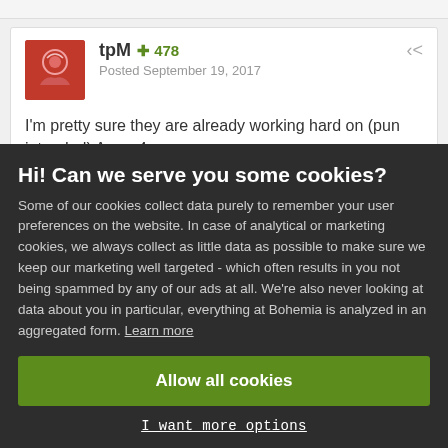tpM  +478
Posted September 19, 2017
I'm pretty sure they are already working hard on (pun intended) Arma 4.
Hi! Can we serve you some cookies?
Some of our cookies collect data purely to remember your user preferences on the website. In case of analytical or marketing cookies, we always collect as little data as possible to make sure we keep our marketing well targeted - which often results in you not being spammed by any of our ads at all. We're also never looking at data about you in particular, everything at Bohemia is analyzed in an aggregated form. Learn more
Allow all cookies
I want more options